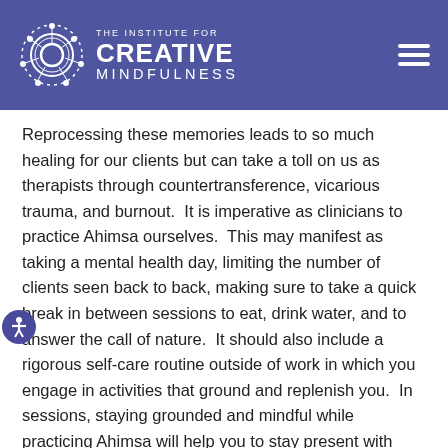The Institute for Creative Mindfulness
Reprocessing these memories leads to so much healing for our clients but can take a toll on us as therapists through countertransference, vicarious trauma, and burnout.  It is imperative as clinicians to practice Ahimsa ourselves.  This may manifest as taking a mental health day, limiting the number of clients seen back to back, making sure to take a quick break in between sessions to eat, drink water, and to answer the call of nature.  It should also include a rigorous self-care routine outside of work in which you engage in activities that ground and replenish you.  In sessions, staying grounded and mindful while practicing Ahimsa will help you to stay present with your clients without absorbing all of the emotions and energies they are outputting as they process their own trauma.  Having a self-practice of Ahimsa will enhance